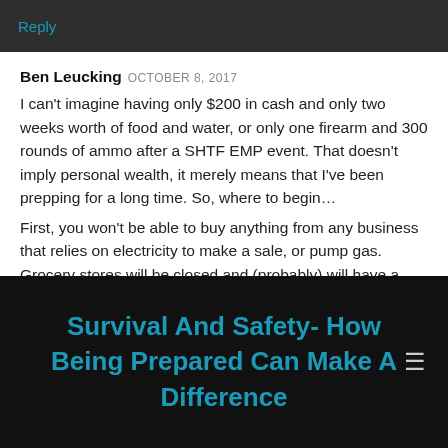Reply
Ben Leucking OCTOBER 8, 2017
I can't imagine having only $200 in cash and only two weeks worth of food and water, or only one firearm and 300 rounds of ammo after a SHTF EMP event. That doesn't imply personal wealth, it merely means that I've been prepping for a long time. So, where to begin…
First, you won't be able to buy anything from any business that relies on electricity to make a sale, or pump gas. Grocery stores will be closed and (probably) will have a guy with a shotgun sitting out
Survival And Safety- How Being Prepared Can Make A Difference